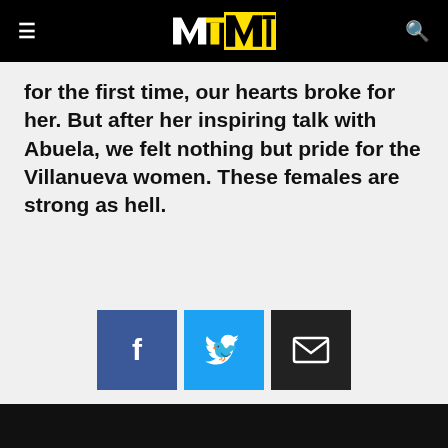MTV
for the first time, our hearts broke for her. But after her inspiring talk with Abuela, we felt nothing but pride for the Villanueva women. These females are strong as hell.
[Figure (other): Social share buttons: Facebook (blue square with f icon), Twitter (cyan square with bird icon), Email (dark square with envelope icon)]